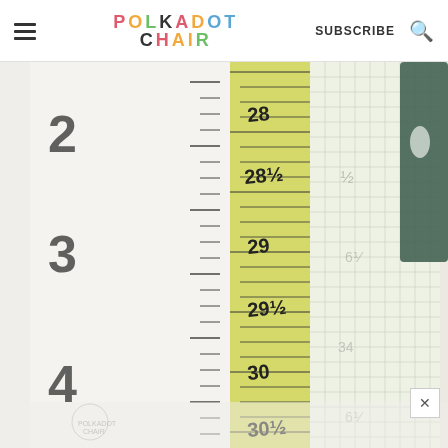POLKADOT CHAIR — SUBSCRIBE
[Figure (photo): Close-up photo of a yellow measuring tape and a gridded transparent ruler placed side by side on a white cutting mat with measurement markings. Numbers visible on the measuring tape include 28, 29, and other inch markings. A dark object (possibly scissors or a tool) is visible in the upper right corner. A small Polkadot Chair watermark logo is visible at the bottom left.]